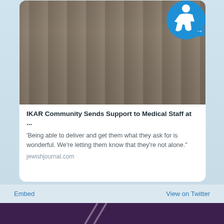[Figure (photo): Twitter/social media card embed showing a group photo of people holding trays of food, with an accessibility icon overlay in the top right. Below the photo is a card with title, excerpt, and domain.]
IKAR Community Sends Support to Medical Staff at ...
'Being able to deliver and get them what they ask for is wonderful. We’re letting them know that they’re not alone."
jewishjournal.com
Embed
View on Twitter